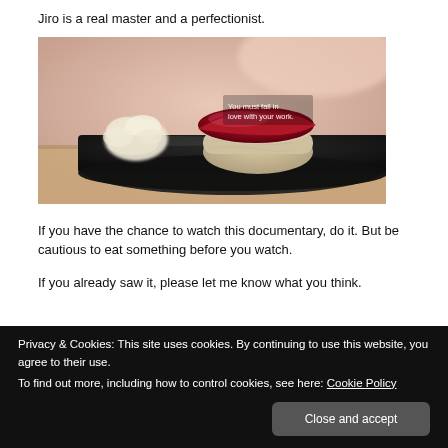Jiro is a real master and a perfectionist.
[Figure (photo): A piece of tuna nigiri sushi and pickled ginger on a dark slate plate, with text overlay reading 'You must fall in love with your work.']
If you have the chance to watch this documentary, do it. But be cautious to eat something before you watch.
If you already saw it, please let me know what you think.
Privacy & Cookies: This site uses cookies. By continuing to use this website, you agree to their use.
To find out more, including how to control cookies, see here: Cookie Policy